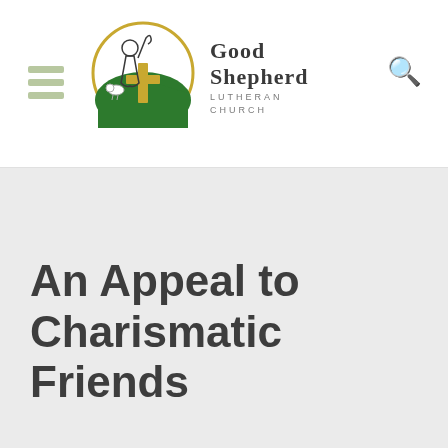Good Shepherd Lutheran Church
An Appeal to Charismatic Friends